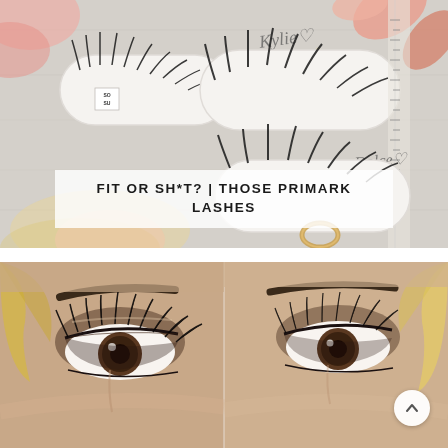[Figure (photo): Flat lay photo of multiple pairs of false eyelashes on lash trays labeled 'SOSU', with decorative dried flowers, a ring, and script-written names 'Kylie' and 'Dolce' visible on the light wood background.]
FIT OR SH*T? | THOSE PRIMARK LASHES
[Figure (photo): Close-up comparison photo of two women's eyes showing different false eyelash styles with smoky eye makeup. A circular scroll-to-top button is visible in the lower right corner.]